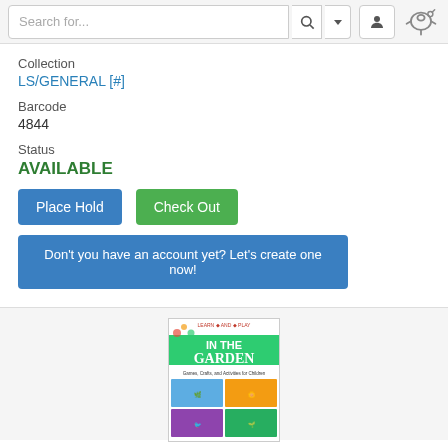Search for...
Collection
LS/GENERAL [#]
Barcode
4844
Status
AVAILABLE
Place Hold
Check Out
Don't you have an account yet? Let's create one now!
[Figure (photo): Book cover: Learn and Play In The Garden - Games, Crafts, and Activities for Children]